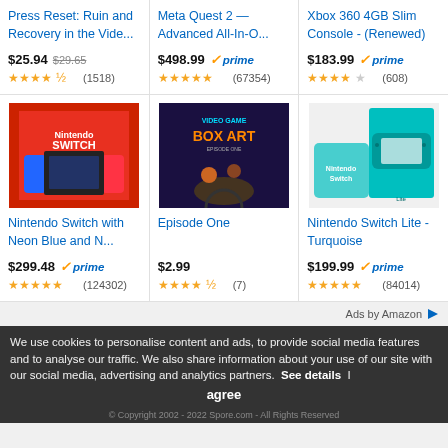Press Reset: Ruin and Recovery in the Vide...
$25.94  $29.65  ★★★★½ (1518)
Meta Quest 2 — Advanced All-In-O...
$498.99  ✓prime  ★★★★★ (67354)
Xbox 360 4GB Slim Console - (Renewed)
$183.99  ✓prime  ★★★★☆ (608)
[Figure (photo): Nintendo Switch with Neon Blue and Red Joy-Con controllers, product box]
Nintendo Switch with Neon Blue and N...
$299.48  ✓prime  ★★★★★ (124302)
[Figure (photo): Video Game Box Art book cover showing animated characters looking at game boxes]
Episode One
$2.99  ★★★★½ (7)
[Figure (photo): Nintendo Switch Lite Turquoise console and box]
Nintendo Switch Lite - Turquoise
$199.99  ✓prime  ★★★★★ (84014)
Ads by Amazon
We use cookies to personalise content and ads, to provide social media features and to analyse our traffic. We also share information about your use of our site with our social media, advertising and analytics partners.  See details  I agree
© Copyright 2002 - 2022 Spore.com - All Rights Reserved